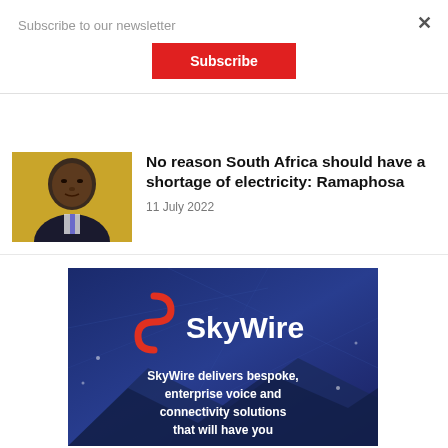Subscribe to our newsletter
Subscribe
No reason South Africa should have a shortage of electricity: Ramaphosa
11 July 2022
[Figure (photo): Portrait photo of Cyril Ramaphosa in a suit with yellow background]
[Figure (logo): SkyWire advertisement banner with logo and text: SkyWire delivers bespoke, enterprise voice and connectivity solutions that will have you]